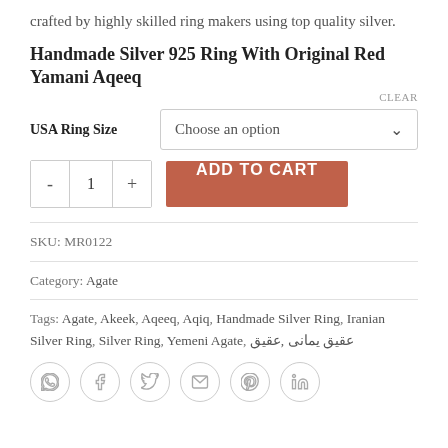crafted by highly skilled ring makers using top quality silver.
Handmade Silver 925 Ring With Original Red Yamani Aqeeq
CLEAR
USA Ring Size   Choose an option
[Figure (screenshot): Add to cart section with quantity selector (-/1/+) and orange ADD TO CART button]
SKU: MR0122
Category: Agate
Tags: Agate, Akeek, Aqeeq, Aqiq, Handmade Silver Ring, Iranian Silver Ring, Silver Ring, Yemeni Agate, عقیق یمانی ,عقیق
[Figure (infographic): Row of 6 social sharing icons (WhatsApp, Facebook, Twitter, Email, Pinterest, LinkedIn) in circular borders]